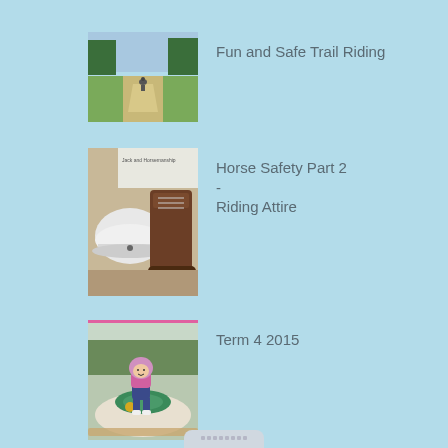[Figure (photo): A dirt trail path leading through open grassland with forest trees in the background; two riders on horseback visible in the distance]
Fun and Safe Trail Riding
[Figure (photo): A white riding helmet and brown leather riding boots on a surface with a poster in the background]
Horse Safety Part 2 - Riding Attire
[Figure (photo): A young child wearing a pink helmet and jacket sitting on a horse, outdoors with trees in background]
Term 4 2015